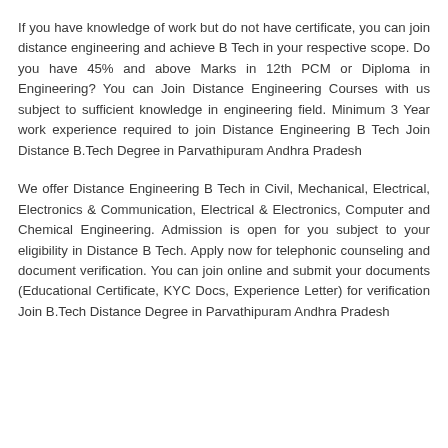If you have knowledge of work but do not have certificate, you can join distance engineering and achieve B Tech in your respective scope. Do you have 45% and above Marks in 12th PCM or Diploma in Engineering? You can Join Distance Engineering Courses with us subject to sufficient knowledge in engineering field. Minimum 3 Year work experience required to join Distance Engineering B Tech Join Distance B.Tech Degree in Parvathipuram Andhra Pradesh
We offer Distance Engineering B Tech in Civil, Mechanical, Electrical, Electronics & Communication, Electrical & Electronics, Computer and Chemical Engineering. Admission is open for you subject to your eligibility in Distance B Tech. Apply now for telephonic counseling and document verification. You can join online and submit your documents (Educational Certificate, KYC Docs, Experience Letter) for verification Join B.Tech Distance Degree in Parvathipuram Andhra Pradesh